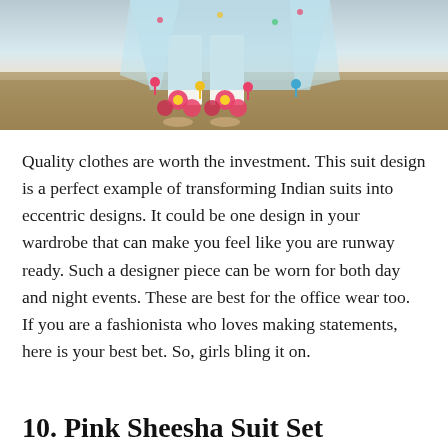[Figure (photo): A person wearing a light blue/white Indian suit with colorful floral embroidery at the hem and colorful tassel decorations, standing on a dirt ground, photographed from below the waist.]
Quality clothes are worth the investment. This suit design is a perfect example of transforming Indian suits into eccentric designs. It could be one design in your wardrobe that can make you feel like you are runway ready. Such a designer piece can be worn for both day and night events. These are best for the office wear too. If you are a fashionista who loves making statements, here is your best bet. So, girls bling it on.
10. Pink Sheesha Suit Set